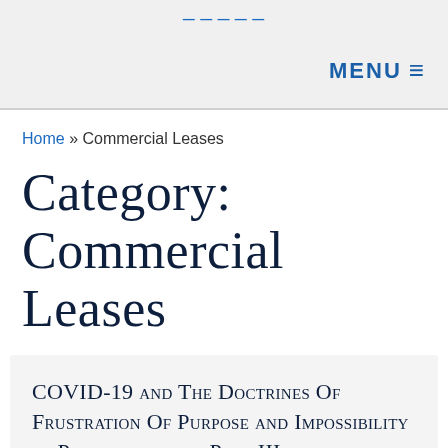MENU ≡
Home » Commercial Leases
Category: Commercial Leases
COVID-19 and The Doctrines Of Frustration Of Purpose and Impossibility of Performance — Part III